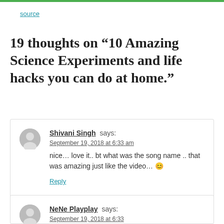source
19 thoughts on “10 Amazing Science Experiments and life hacks you can do at home.”
Shivani Singh says:
September 19, 2018 at 6:33 am
nice… love it.. bt what was the song name .. that was amazing just like the video… 😊
Reply
NeNe Playplay says:
September 19, 2018 at 6:33